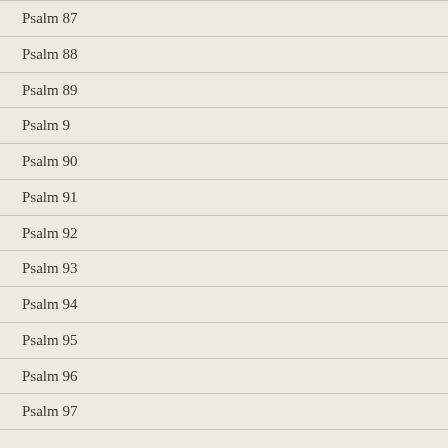Psalm 87
Psalm 88
Psalm 89
Psalm 9
Psalm 90
Psalm 91
Psalm 92
Psalm 93
Psalm 94
Psalm 95
Psalm 96
Psalm 97